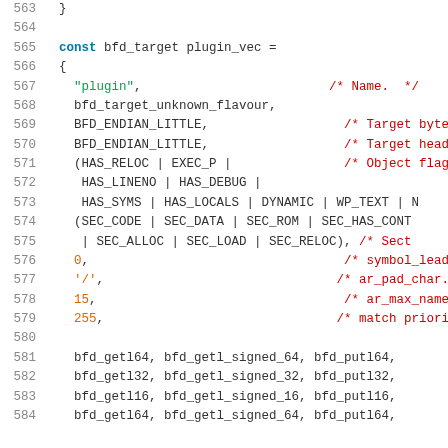Source code listing lines 563-584, C code for bfd_target plugin_vec structure initialization